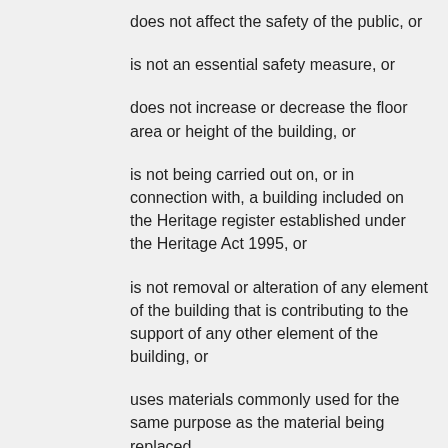does not affect the safety of the public, or
is not an essential safety measure, or
does not increase or decrease the floor area or height of the building, or
is not being carried out on, or in connection with, a building included on the Heritage register established under the Heritage Act 1995, or
is not removal or alteration of any element of the building that is contributing to the support of any other element of the building, or
uses materials commonly used for the same purpose as the material being replaced.
Swimming pools including spas
A swimming pool with a depth not exceeding 300 millimetres, or
A relocatable swimming pool that is erected